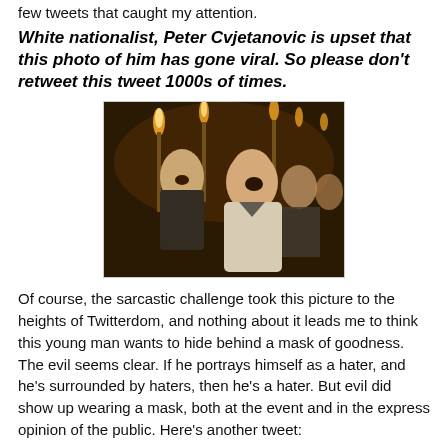few tweets that caught my attention.
White nationalist, Peter Cvjetanovic is upset that this photo of him has gone viral. So please don’t retweet this tweet 1000s of times.
[Figure (photo): Photo of men marching at night carrying torches, mouths open as if chanting or shouting. The prominent figure in front wears a light-colored polo shirt.]
Of course, the sarcastic challenge took this picture to the heights of Twitterdom, and nothing about it leads me to think this young man wants to hide behind a mask of goodness. The evil seems clear. If he portrays himself as a hater, and he’s surrounded by haters, then he’s a hater. But evil did show up wearing a mask, both at the event and in the express opinion of the public. Here’s another tweet: